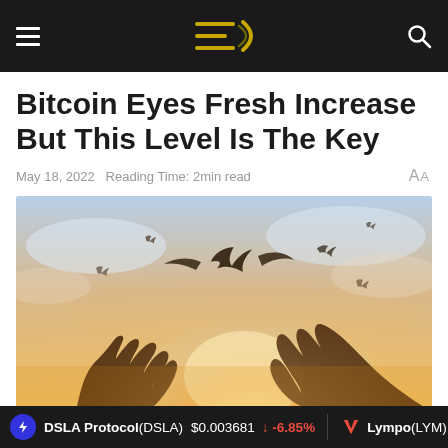EC (logo navigation bar with hamburger menu and search icon)
Bitcoin Eyes Fresh Increase But This Level Is The Key
May 18, 2022  Reading Time: 2min read  AA
[Figure (photo): Silhouette of two hands releasing birds into a warm sunset sky with multiple birds flying.]
DSLA Protocol(DSLA) $0.003681 ↓ -6.85%  Lympo(LYM)